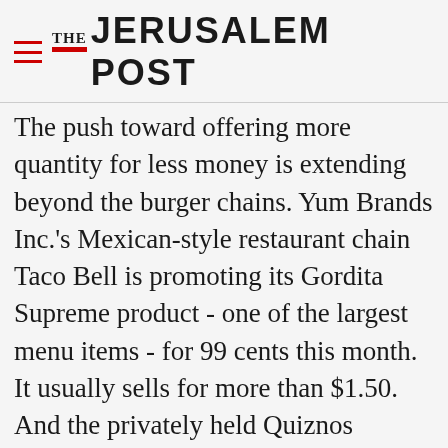THE JERUSALEM POST
The push toward offering more quantity for less money is extending beyond the burger chains. Yum Brands Inc.'s Mexican-style restaurant chain Taco Bell is promoting its Gordita Supreme product - one of the largest menu items - for 99 cents this month. It usually sells for more than $1.50. And the privately held Quiznos sandwich chain launched a line of $2 small flatbread sandwiches called Sammies in November. The chain also offers a combo meal that comes with
Advertisement